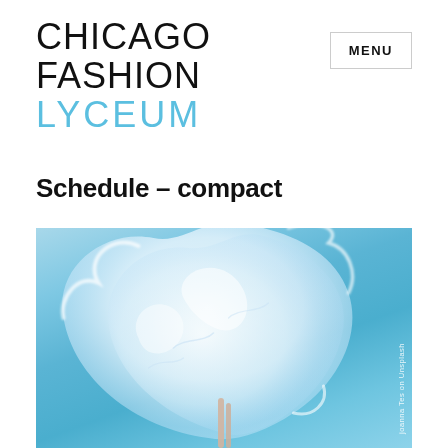CHICAGO FASHION LYCEUM
MENU
Schedule – compact
[Figure (photo): A translucent white fabric billowing dramatically against a bright blue sky, held up by hands visible at the bottom of the image. Watermark text reads 'joanna Tes on Unsplash' along the right edge.]